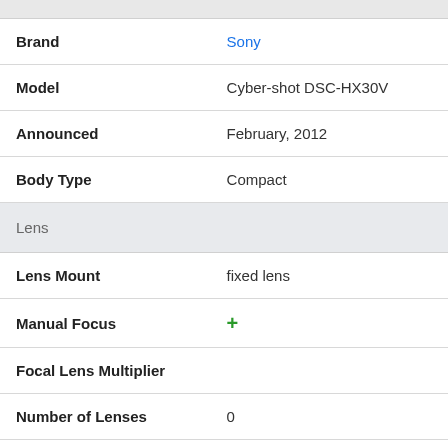| Attribute | Value |
| --- | --- |
| Brand | Sony |
| Model | Cyber-shot DSC-HX30V |
| Announced | February, 2012 |
| Body Type | Compact |
| Lens |  |
| Lens Mount | fixed lens |
| Manual Focus | + |
| Focal Lens Multiplier |  |
| Number of Lenses | 0 |